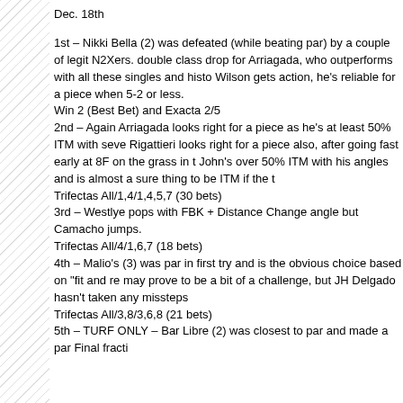Dec. 18th
1st – Nikki Bella (2) was defeated (while beating par) by a couple of legit N2Xers. double class drop for Arriagada, who outperforms with all these singles and histo Wilson gets action, he's reliable for a piece when 5-2 or less.
Win 2 (Best Bet) and Exacta 2/5
2nd – Again Arriagada looks right for a piece as he's at least 50% ITM with seve Rigattieri looks right for a piece also, after going fast early at 8F on the grass in t John's over 50% ITM with his angles and is almost a sure thing to be ITM if the t
Trifectas All/1,4/1,4,5,7 (30 bets)
3rd – Westlye pops with FBK + Distance Change angle but Camacho jumps.
Trifectas All/4/1,6,7 (18 bets)
4th – Malio's (3) was par in first try and is the obvious choice based on "fit and re may prove to be a bit of a challenge, but JH Delgado hasn't taken any missteps
Trifectas All/3,8/3,6,8 (21 bets)
5th – TURF ONLY – Bar Libre (2) was closest to par and made a par Final fracti